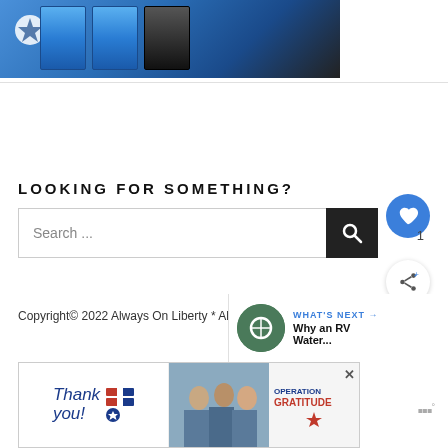[Figure (photo): Photo of people holding blue and black binders/folders with a logo badge visible in top left]
LOOKING FOR SOMETHING?
Search ...
Copyright© 2022 Always On Liberty * All rig...
WHAT'S NEXT → Why an RV Water...
[Figure (photo): Advertisement banner: Thank you with Operation Gratitude logo and nurses photo]